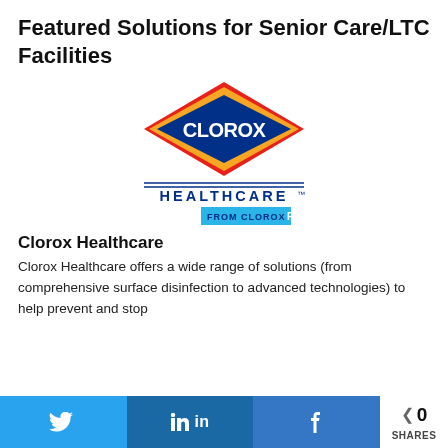Featured Solutions for Senior Care/LTC Facilities
[Figure (logo): Clorox Healthcare from CloroxPro logo — diamond shaped red/gold/blue Clorox logo above HEALTHCARE™ text with horizontal lines, and FROM CLOROXPRO™ below in blue]
Clorox Healthcare
Clorox Healthcare offers a wide range of solutions (from comprehensive surface disinfection to advanced technologies) to help prevent and stop
Twitter share | LinkedIn share | Facebook share | 0 SHARES